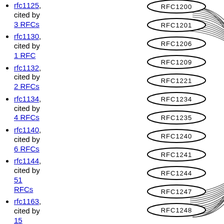rfc1125, cited by 3 RFCs
rfc1130, cited by 1 RFC
rfc1132, cited by 2 RFCs
rfc1134, cited by 4 RFCs
rfc1140, cited by 6 RFCs
rfc1144, cited by 51 RFCs
rfc1163, cited by 15 RFCs
rfc1166, cited by 16 RFCs
[Figure (other): Network graph showing oval nodes labeled RFC1200, RFC1201, RFC1206, RFC1209, RFC1221, RFC1234, RFC1235, RFC1240, RFC1241, RFC1244, RFC1247, RFC1248 with curved lines connecting them, partially visible on the right side of the page.]